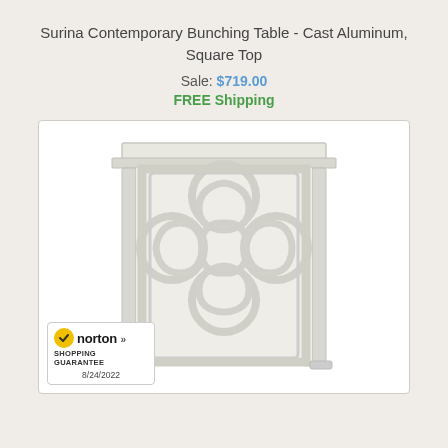Surina Contemporary Bunching Table - Cast Aluminum, Square Top
Sale: $719.00
FREE Shipping
[Figure (photo): White cast aluminum bunching table with square top and decorative Moroccan-style lattice pattern on the sides, photographed from front on white background. Norton Shopping Guarantee badge in bottom-left corner dated 8/24/2022.]